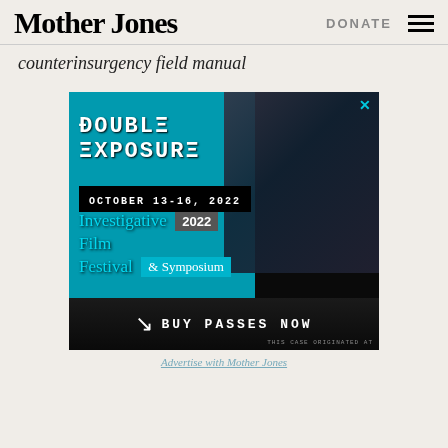Mother Jones | DONATE
counterinsurgency field manual
[Figure (illustration): Double Exposure Investigative Film Festival & Symposium advertisement banner. Shows text 'DOUBLE EXPOSURE' in monospace font, 'OCTOBER 13-16, 2022', 'Investigative Film Festival & Symposium 2022', 'BUY PASSES NOW'. Background shows cyan/blue color with dark photography silhouettes.]
Advertise with Mother Jones